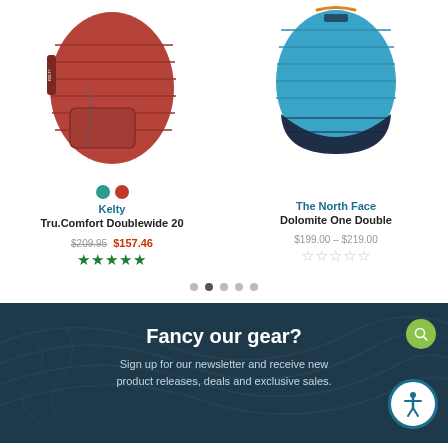[Figure (photo): Kelty Tru.Comfort Doublewide 20 sleeping bag in dark red/rust color, folded and laid flat]
[Figure (photo): The North Face Dolomite One Double sleeping bag in blue and navy color, folded and laid flat]
Kelty
Tru.Comfort Doublewide 20
$209.95  $157.46
★★★★★
The North Face
Dolomite One Double
$199.00 – $219.00
☆☆☆☆☆
Fancy our gear?
Sign up for our newsletter and receive new product releases, deals and exclusive sales.